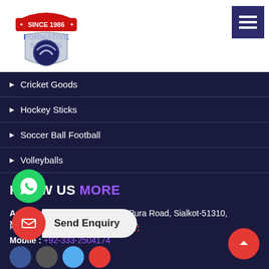[Figure (logo): Formative Sports logo — shield shape with 'SINCE 1986' banner on top in red, 'FORMATIVE SPORTS' text in blue, and a football/soccer ball image on the shield]
Cricket Goods
Hockey Sticks
Soccer Ball Football
Volleyballs
KNOW US MORE
Address: Building 8/260, Rang Pura Road, Sialkot-51310, Pakistan
Mobile : +92-333-2504174
YOU FIND US AT: